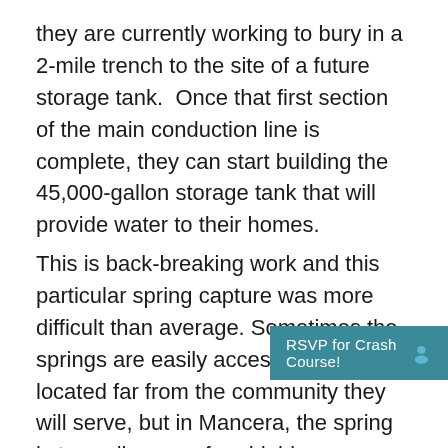they are currently working to bury in a 2-mile trench to the site of a future storage tank. Once that first section of the main conduction line is complete, they can start building the 45,000-gallon storage tank that will provide water to their homes.
This is back-breaking work and this particular spring capture was more difficult than average. Sometimes the springs are easily accessible and not located far from the community they will serve, but in Mancera, the spring is two miles up a formidable mount[ain, accessible only via] narrow trails. All the ce[ment, tools, and] pvc had to be carried on horses, mules, and by
[Figure (other): UI overlay banner with teal background showing 'RSVP for Crash Course!' text and a person icon on the right]